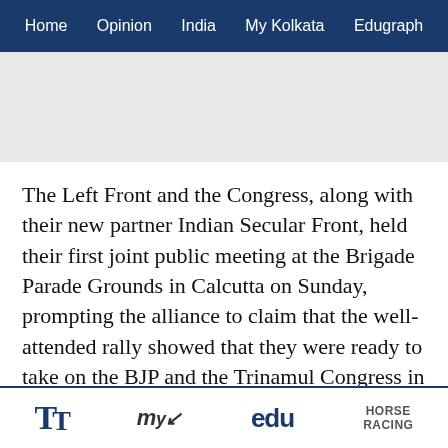Home  Opinion  India  My Kolkata  Edugraph
[Figure (other): Advertisement banner area (gray placeholder)]
The Left Front and the Congress, along with their new partner Indian Secular Front, held their first joint public meeting at the Brigade Parade Grounds in Calcutta on Sunday, prompting the alliance to claim that the well-attended rally showed that they were ready to take on the BJP and the Trinamul Congress in the Bengal Assembly polls.
In what many thought was a historic moment in terms of political alignment, Sunday's show witnessed leaders
TT  my Kolkata  edu  HORSE RACING